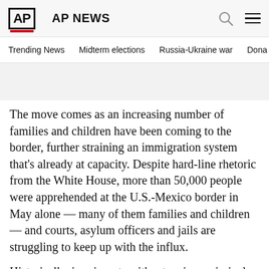AP NEWS
Trending News
Midterm elections
Russia-Ukraine war
Dona
The move comes as an increasing number of families and children have been coming to the border, further straining an immigration system that’s already at capacity. Despite hard-line rhetoric from the White House, more than 50,000 people were apprehended at the U.S.-Mexico border in May alone — many of them families and children — and courts, asylum officers and jails are struggling to keep up with the influx.
Historically, immigrants without serious criminal